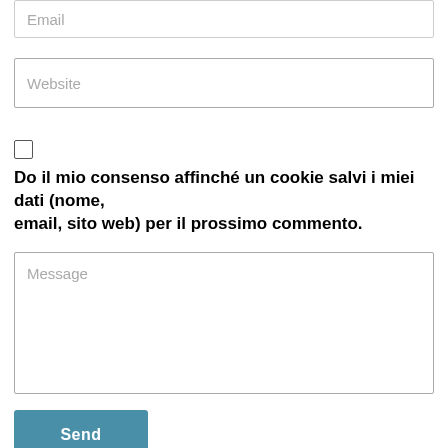Email
Website
Do il mio consenso affinché un cookie salvi i miei dati (nome, email, sito web) per il prossimo commento.
Message
Send